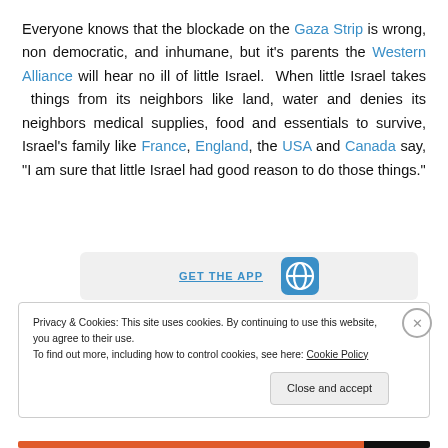Everyone knows that the blockade on the Gaza Strip is wrong, non democratic, and inhumane, but it's parents the Western Alliance will hear no ill of little Israel. When little Israel takes things from its neighbors like land, water and denies its neighbors medical supplies, food and essentials to survive, Israel's family like France, England, the USA and Canada say, "I am sure that little Israel had good reason to do those things."
[Figure (other): GET THE APP banner with WordPress logo]
Privacy & Cookies: This site uses cookies. By continuing to use this website, you agree to their use. To find out more, including how to control cookies, see here: Cookie Policy
Close and accept